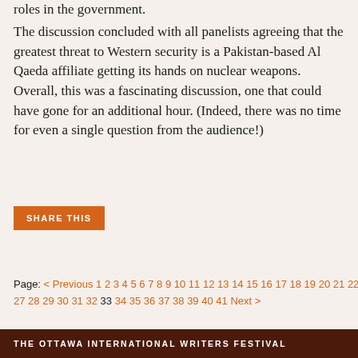roles in the government.
The discussion concluded with all panelists agreeing that the greatest threat to Western security is a Pakistan-based Al Qaeda affiliate getting its hands on nuclear weapons. Overall, this was a fascinating discussion, one that could have gone for an additional hour. (Indeed, there was no time for even a single question from the audience!)
SHARE THIS
Page: < Previous 1 2 3 4 5 6 7 8 9 10 11 12 13 14 15 16 17 18 19 20 21 22 23 24 25 26 27 28 29 30 31 32 33 34 35 36 37 38 39 40 41 Next >
THE OTTAWA INTERNATIONAL WRITERS FESTIVAL